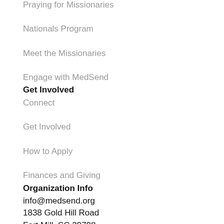Praying for Missionaries
Nationals Program
Meet the Missionaries
Engage with MedSend
Get Involved
Connect
Get Involved
How to Apply
Finances and Giving
Organization Info
info@medsend.org
1838 Gold Hill Road
Fort Mill, SC 29708